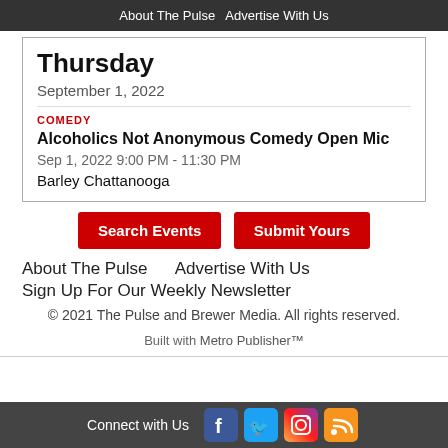About The Pulse   Advertise With Us
Thursday
September 1, 2022
COMEDY
Alcoholics Not Anonymous Comedy Open Mic
Sep 1, 2022 9:00 PM - 11:30 PM
Barley Chattanooga
Search Events   Submit Yours
About The Pulse   Advertise With Us
Sign Up For Our Weekly Newsletter
© 2021 The Pulse and Brewer Media. All rights reserved.
Built with Metro Publisher™
Connect with Us